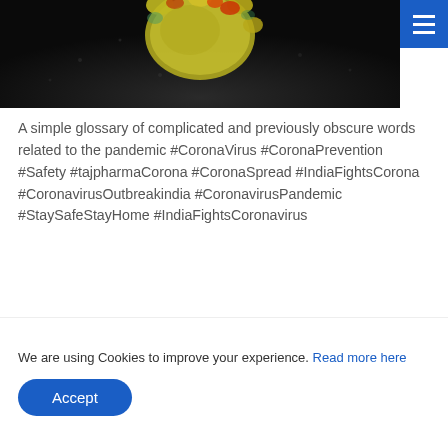[Figure (photo): Coronavirus microscope image on dark background with colorful surface proteins visible]
A simple glossary of complicated and previously obscure words related to the pandemic #CoronaVirus #CoronaPrevention #Safety #tajpharmaCorona #CoronaSpread #IndiaFightsCorona #CoronavirusOutbreakindia #CoronavirusPandemic #StaySafeStayHome #IndiaFightsCoronavirus
CASE STUDIES
CORONAVIRUS (COVID-19)
CORONAVIRUS CLINICAL TRIALS
CORONAVIRUS LATEST BREAKING NEWS
We are using Cookies to improve your experience. Read more here
Accept